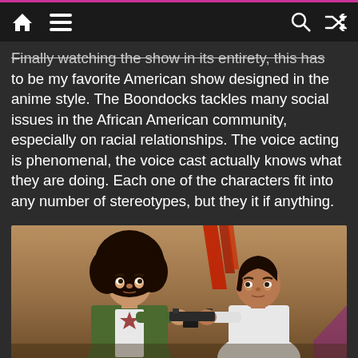[Home] [Menu] [Search] [Shuffle]
Finally watching the show in its entirety, this has to be my favorite American show designed in the anime style. The Boondocks tackles many social issues in the African American community, especially on racial relationships. The voice acting is phenomenal, the voice cast actually knows what they are doing. Each one of the characters fit into any number of stereotypes, but they it if anything.
[Figure (illustration): Anime-style illustration from The Boondocks showing two characters pointing guns at each other. The character on the left has a large afro and wears a green jacket; the character on the right has straight hair and wears a white tank top. Background shows a brownish wall with red ribbon-like elements. A purple watermark is visible in the bottom right corner.]